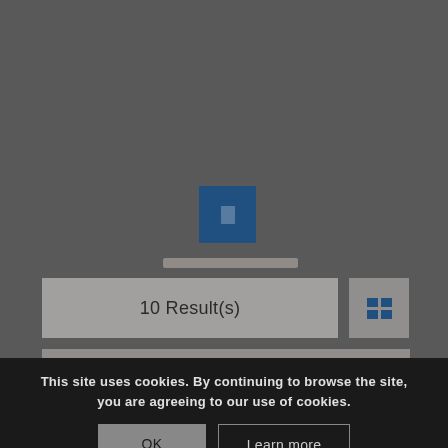[Figure (screenshot): Dark grey website background with a blue document/file icon centered in the upper-middle area, a search bar below it, a results panel showing '10 Result(s)', a grid-view toggle button, and a horizontal list bar below.]
10 Result(s)
This site uses cookies. By continuing to browse the site, you are agreeing to our use of cookies.
OK
Learn more